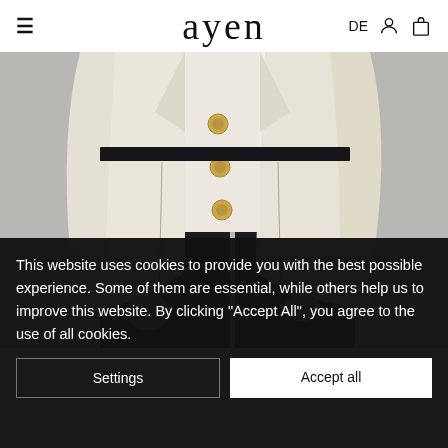≡ ayen DE
[Figure (photo): Fashion photo showing a person wearing a cream/off-white blazer with gold buttons and black wide-leg trousers, photographed from the torso down against a gray background.]
This website uses cookies to provide you with the best possible experience. Some of them are essential, while others help us to improve this website. By clicking "Accept All", you agree to the use of all cookies.
Settings
Accept all